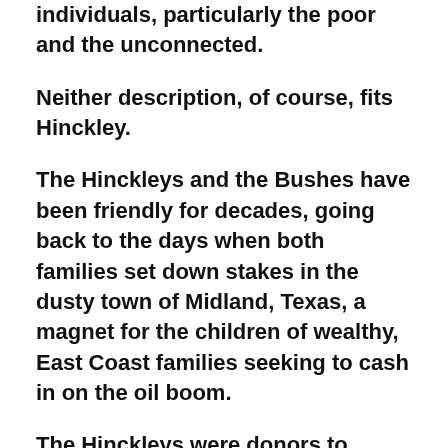individuals, particularly the poor and the unconnected.
Neither description, of course, fits Hinckley.
The Hinckleys and the Bushes have been friendly for decades, going back to the days when both families set down stakes in the dusty town of Midland, Texas, a magnet for the children of wealthy, East Coast families seeking to cash in on the oil boom.
The Hinckleys were donors to Poppy Bush's political campaigns over the years, and they gave to support the first, unsuccessful bid for Congress of the young George W. Bush, in 1978. The families lived close to each other, they socialized; I saw indications that, at one point, they may have shared the same lawyer.
For ...